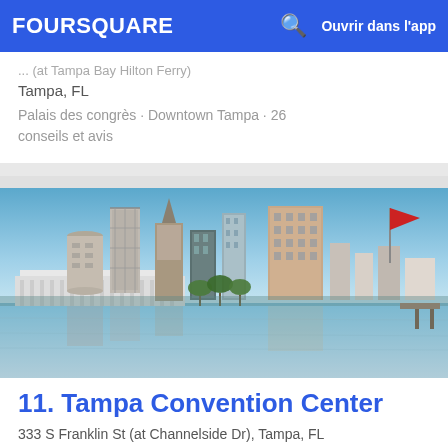FOURSQUARE  Ouvrir dans l'app
Tampa, FL
Palais des congrès · Downtown Tampa · 26 conseils et avis
[Figure (photo): Tampa Bay city skyline viewed from across the water, showing convention center, downtown skyscrapers, and a red flag on the right side]
11. Tampa Convention Center
333 S Franklin St (at Channelside Dr), Tampa, FL
Palais des congrès · Downtown Tampa · 60 conseils et avis